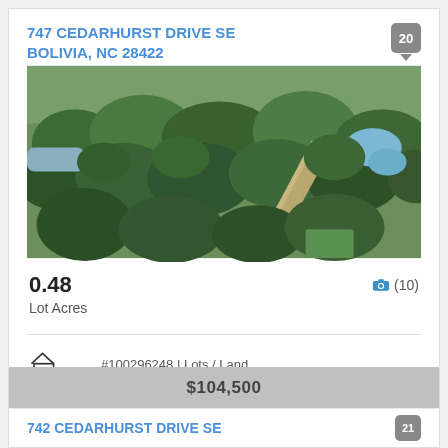747 CEDARHURST DRIVE SE
BOLIVIA, NC 28422
[Figure (photo): Aerial drone photo of wooded land with a road and stream/river visible through the trees at 747 Cedarhurst Drive SE, Bolivia, NC]
0.48
Lot Acres
#100296248 | Lots / Land
$104,500
742 CEDARHURST DRIVE SE